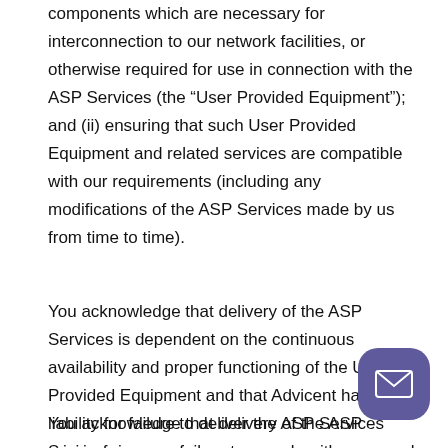components which are necessary for interconnection to our network facilities, or otherwise required for use in connection with the ASP Services (the “User Provided Equipment”); and (ii) ensuring that such User Provided Equipment and related services are compatible with our requirements (including any modifications of the ASP Services made by us from time to time).
You acknowledge that delivery of the ASP Services is dependent on the continuous availability and proper functioning of the User Provided Equipment and that Advicent has no liability for failure to deliver the ASP Services arising from your failure to comply with paragraph (e) above.
You acknowledge that delivery of the ASP Services is